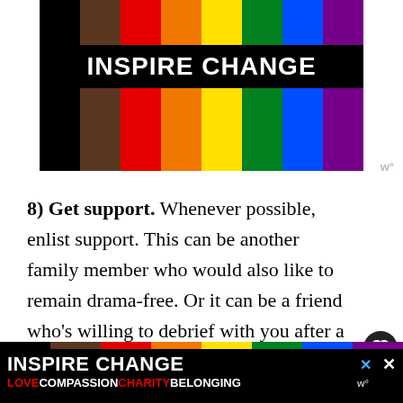[Figure (illustration): Inspire Change banner with progressive pride rainbow stripes (black, brown, red, orange, yellow, green, blue, purple) and white bold text 'INSPIRE CHANGE' on black bar in center]
8) Get support. Whenever possible, enlist support. This can be another family member who would also like to remain drama-free. Or it can be a friend who's willing to debrief with you after a drama-filled event. Don't be afraid to
[Figure (illustration): Bottom ad banner: Inspire Change logo with rainbow stripes on black background, tagline LOVE COMPASSION CHARITY BELONGING in red and white]